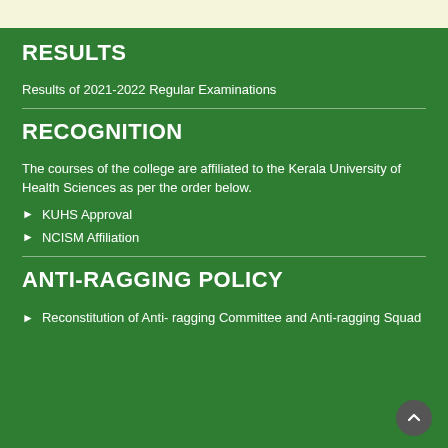RESULTS
Results of 2021-2022 Regular Examinations
RECOGNITION
The courses of the college are affiliated to the Kerala University of Health Sciences as per the order below.
KUHS Approval
NCISM Affiliation
ANTI-RAGGING POLICY
Reconstitution of Anti- ragging Committee and Anti-ragging Squad